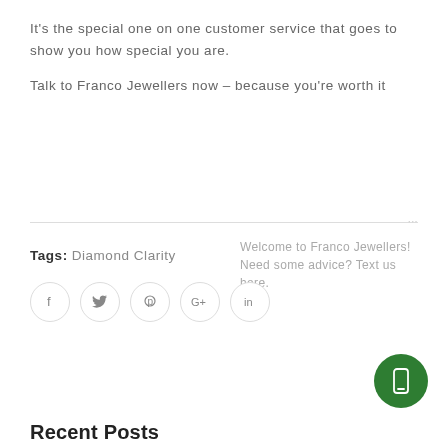It's the special one on one customer service that goes to show you how special you are.

Talk to Franco Jewellers now – because you're worth it
Tags: Diamond Clarity
[Figure (infographic): Social share icons: Facebook, Twitter, Pinterest, Google+, LinkedIn — each in a circle outline]
[Figure (infographic): Green circular mobile/phone icon button at bottom right]
Recent Posts